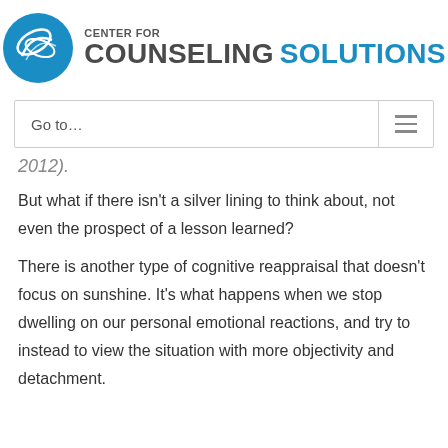[Figure (logo): Center for Counseling Solutions logo with blue circular emblem and text]
Go to...
2012).
But what if there isn’t a silver lining to think about, not even the prospect of a lesson learned?
There is another type of cognitive reappraisal that doesn’t focus on sunshine. It’s what happens when we stop dwelling on our personal emotional reactions, and try to instead to view the situation with more objectivity and detachment.